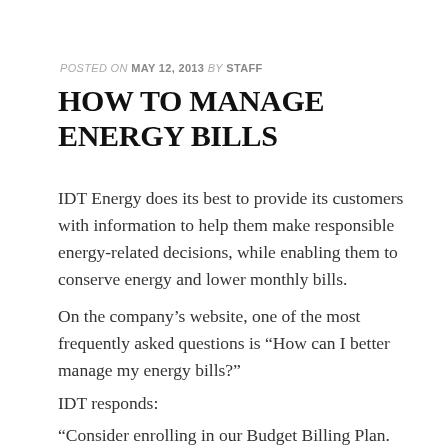POSTED ON MAY 12, 2013 BY STAFF
HOW TO MANAGE ENERGY BILLS
IDT Energy does its best to provide its customers with information to help them make responsible energy-related decisions, while enabling them to conserve energy and lower monthly bills.
On the company’s website, one of the most frequently asked questions is “How can I better manage my energy bills?”
IDT responds:
“Consider enrolling in our Budget Billing Plan. Check